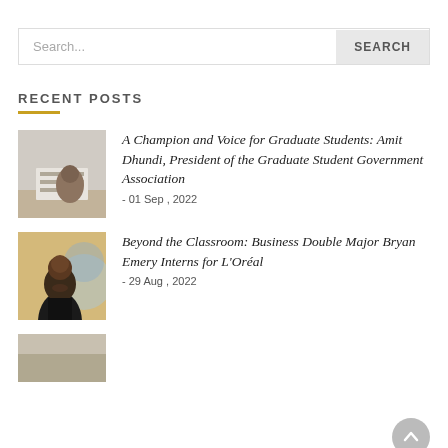Search...
RECENT POSTS
[Figure (photo): Person writing in a book at a desk]
A Champion and Voice for Graduate Students: Amit Dhundi, President of the Graduate Student Government Association
- 01 Sep , 2022
[Figure (photo): Young man smiling with a globe in the background]
Beyond the Classroom: Business Double Major Bryan Emery Interns for L'Oréal
- 29 Aug , 2022
[Figure (photo): Partial thumbnail of a third post]